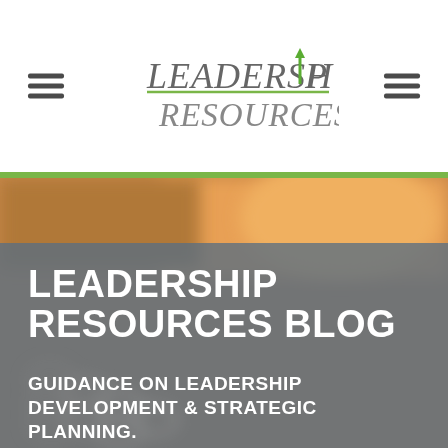[Figure (logo): Leadership Resources logo with green upward arrow replacing the 'I' in Leadership, gray serif text reading LEADERSHIP RESOURCES with green underline]
[Figure (photo): Blurred background photo showing a notebook with spiral binding and warm orange/golden background lighting]
LEADERSHIP RESOURCES BLOG
GUIDANCE ON LEADERSHIP DEVELOPMENT & STRATEGIC PLANNING.